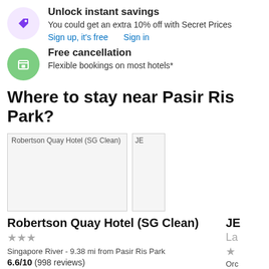Unlock instant savings
You could get an extra 10% off with Secret Prices
Sign up, it's free   Sign in
Free cancellation
Flexible bookings on most hotels*
Where to stay near Pasir Ris Park?
[Figure (photo): Hotel image placeholder for Robertson Quay Hotel (SG Clean)]
[Figure (photo): Partial hotel image placeholder (truncated, labeled JE)]
Robertson Quay Hotel (SG Clean)
★★★
Singapore River - 9.38 mi from Pasir Ris Park
6.6/10 (998 reviews)
JE
La
★
Orc